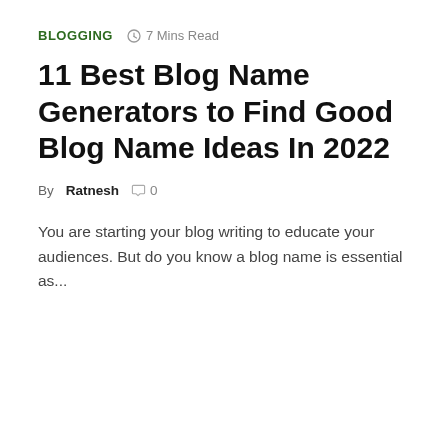BLOGGING  🕐 7 Mins Read
11 Best Blog Name Generators to Find Good Blog Name Ideas In 2022
By Ratnesh  💬 0
You are starting your blog writing to educate your audiences. But do you know a blog name is essential as...